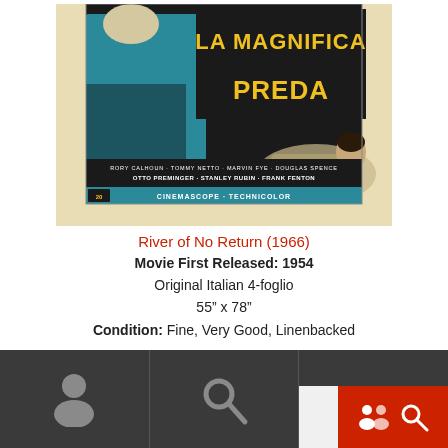[Figure (photo): Italian movie poster for 'La Magnifica Preda' (River of No Return, 1954) showing title text in yellow, two figures (a woman in teal and a man on the ground), credits listing Rory Calhoun, Otto Preminger, Stanley Rubin, Frank Fenton, Cinemascope Technicolor banner at bottom]
River of No Return (1966)
Movie First Released: 1954
Original Italian 4-foglio
55" x 78"
Condition: Fine, Very Good, Linenbacked